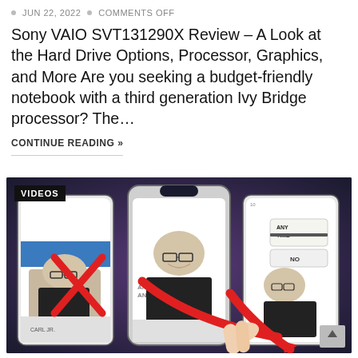JUN 22, 2022 · COMMENTS OFF
Sony VAIO SVT131290X Review – A Look at the Hard Drive Options, Processor, Graphics, and More Are you seeking a budget-friendly notebook with a third generation Ivy Bridge processor? The…
CONTINUE READING »
[Figure (photo): Three smartphones displaying the same person (bald man with glasses making hand gestures), with a VIDEOS badge overlay in the top-left corner. A hand with red arrow overlays is shown interacting with the center phone. The rightmost phone shows 'ANY TIME' and 'NO' notification dialogs. A scroll-to-top button is visible in the bottom-right corner.]